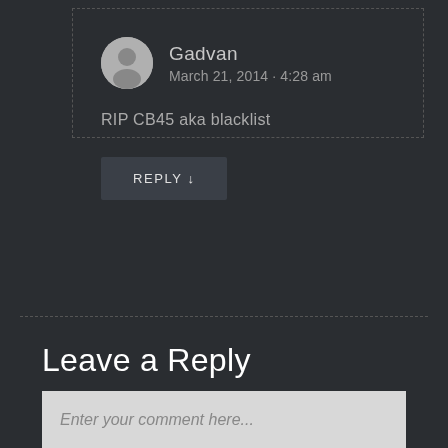Gadvan
March 21, 2014 · 4:28 am
RIP CB45 aka blacklist
REPLY ↓
Leave a Reply
Enter your comment here...